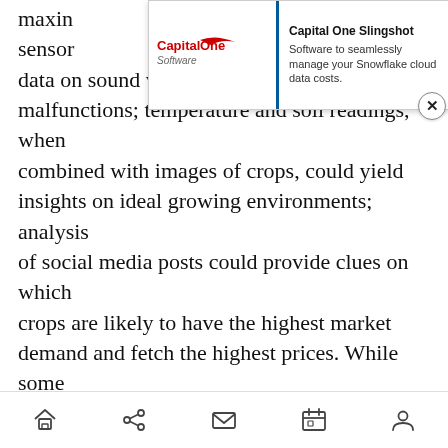maximizing... sensors installed on farm equipment could collect data on sound waves, and analyze them for malfunctions; temperature and soil readings, when combined with images of crops, could yield insights on ideal growing environments; analysis of social media posts could provide clues on which crops are likely to have the highest market demand and fetch the highest prices. While some of this data (like temperature and weather information) are likely already in structured databases, much of it likely isn't — and by applying AI structuring and analysis to this large mass of data, farmers — and consumers — will benefit.
[Figure (other): Capital One Software advertisement banner: logo with red swoosh, text 'Capital One Software' and 'Software to seamlessly manage your Snowflake cloud data costs.' with a close (X) button.]